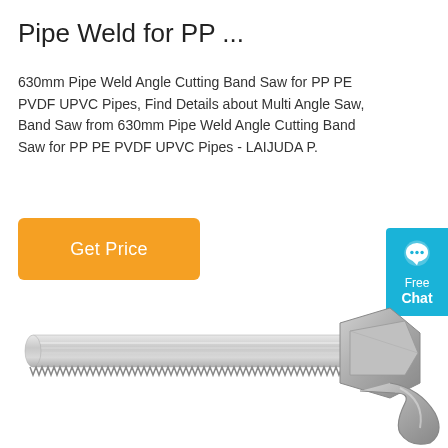Pipe Weld for PP ...
630mm Pipe Weld Angle Cutting Band Saw for PP PE PVDF UPVC Pipes, Find Details about Multi Angle Saw, Band Saw from 630mm Pipe Weld Angle Cutting Band Saw for PP PE PVDF UPVC Pipes - LAIJUDA P.
[Figure (other): Orange 'Get Price' button]
[Figure (other): Blue chat widget with speech bubble icon, labeled 'Free Chat']
[Figure (photo): Photo of a band saw blade and handle, silver/metallic, showing serrated blade and curved handle joint]